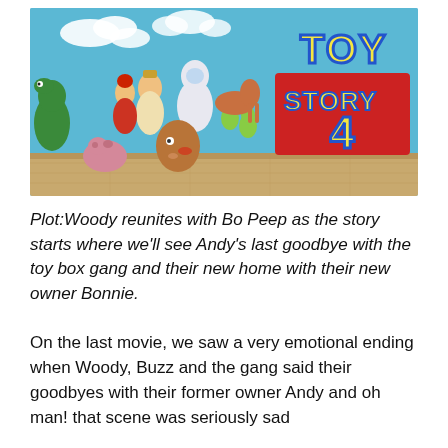[Figure (illustration): Toy Story 4 promotional image showing animated characters including Woody, Buzz Lightyear, Jessie, Rex, Hamm, Slinky, Mr. Potato Head, Bullseye, and alien squeeze toys grouped together on a wooden floor against a blue sky background, with the Toy Story 4 logo on the right side in yellow and red letters.]
Plot:Woody reunites with Bo Peep as the story starts where we'll see Andy's last goodbye with the toy box gang and their new home with their new owner Bonnie.
On the last movie, we saw a very emotional ending when Woody, Buzz and the gang said their goodbyes with their former owner Andy and oh man! that scene was seriously sad